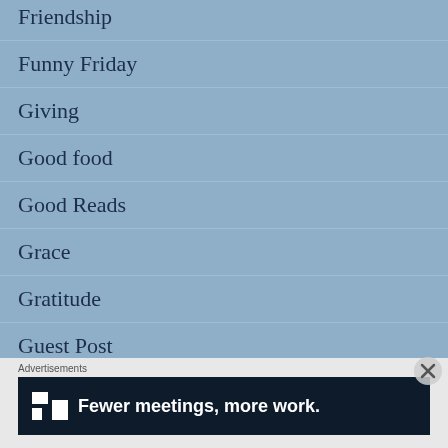Friendship
Funny Friday
Giving
Good food
Good Reads
Grace
Gratitude
Guest Post
[Figure (screenshot): Advertisement banner with text 'Fewer meetings, more work.' on dark background with a logo icon, preceded by an 'Advertisements' label]